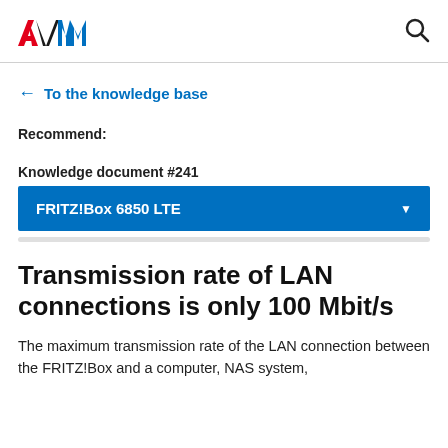AVM | FRITZ!Box 6850 LTE
← To the knowledge base
Recommend:
Knowledge document #241
FRITZ!Box 6850 LTE
Transmission rate of LAN connections is only 100 Mbit/s
The maximum transmission rate of the LAN connection between the FRITZ!Box and a computer, NAS system,